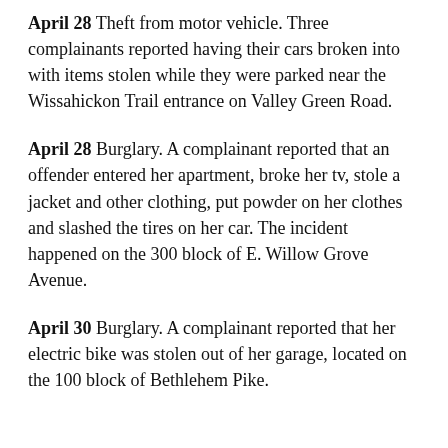April 28 Theft from motor vehicle. Three complainants reported having their cars broken into with items stolen while they were parked near the Wissahickon Trail entrance on Valley Green Road.
April 28 Burglary. A complainant reported that an offender entered her apartment, broke her tv, stole a jacket and other clothing, put powder on her clothes and slashed the tires on her car. The incident happened on the 300 block of E. Willow Grove Avenue.
April 30 Burglary. A complainant reported that her electric bike was stolen out of her garage, located on the 100 block of Bethlehem Pike.